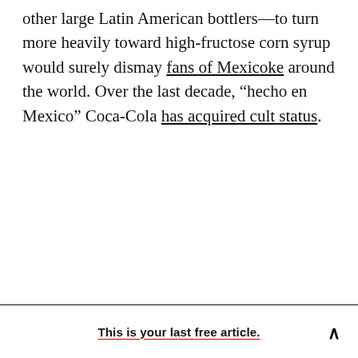other large Latin American bottlers—to turn more heavily toward high-fructose corn syrup would surely dismay fans of Mexicoke around the world. Over the last decade, “hecho en Mexico” Coca-Cola has acquired cult status.
This is your last free article.